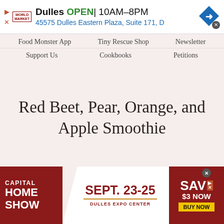[Figure (screenshot): Top advertisement banner for World Market Dulles store: 'Dulles OPEN | 10AM–8PM, 45575 Dulles Eastern Plaza, Suite 171, D' with navigation arrow icon]
Food Monster App   Tiny Rescue Shop   Newsletter
Support Us   Cookbooks   Petitions
Red Beet, Pear, Orange, and Apple Smoothie
[Figure (screenshot): Bottom advertisement banner for Capital Home Show: 'CAPITAL HOME SHOW | SEPT. 23-25 | DULLES EXPO CENTER | SAV $3 NOW | BUY NOW']